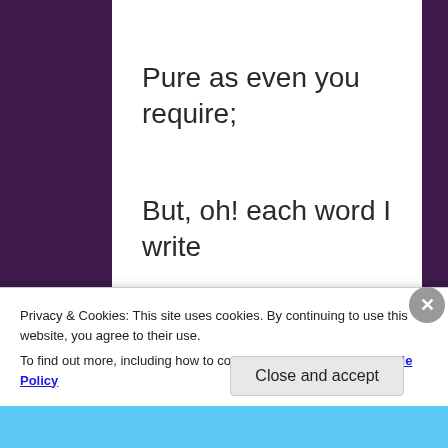Pure as even you require;
But, oh! each word I write
Love turns to fire.
Yet let me keep the book:
Privacy & Cookies: This site uses cookies. By continuing to use this website, you agree to their use.
To find out more, including how to control cookies, see here: Cookie Policy
Close and accept